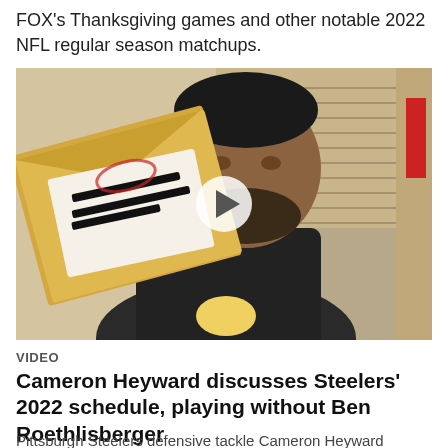FOX's Thanksgiving games and other notable 2022 NFL regular season matchups.
[Figure (screenshot): Video thumbnail showing Cameron Heyward holding a Pittsburgh Steelers schedule envelope, with a play button overlay in the center.]
VIDEO
Cameron Heyward discusses Steelers' 2022 schedule, playing without Ben Roethlisberger
Pittsburgh Steelers defensive tackle Cameron Heyward